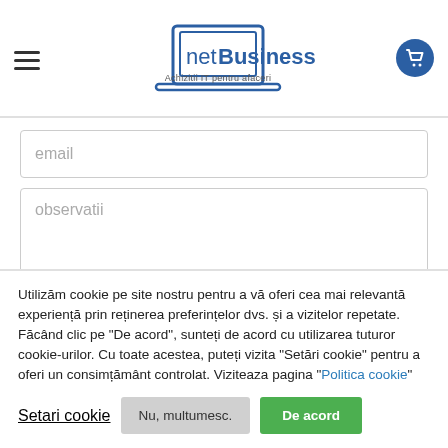[Figure (logo): netBusiness logo with laptop icon and tagline 'Achizitii IT pentru afaceri']
email
observatii
Utilizăm cookie pe site nostru pentru a vă oferi cea mai relevantă experiență prin reținerea preferințelor dvs. și a vizitelor repetate. Făcând clic pe "De acord", sunteți de acord cu utilizarea tuturor cookie-urilor. Cu toate acestea, puteți vizita "Setări cookie" pentru a oferi un consimțământ controlat. Viziteaza pagina "Politica cookie"
Setari cookie
Nu, multumesc.
De acord